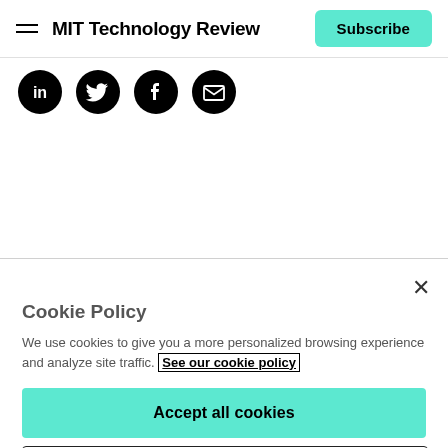MIT Technology Review | Subscribe
[Figure (illustration): Four circular black social media icons in a row: LinkedIn, Twitter, Facebook, and Email/envelope]
Cookie Policy
We use cookies to give you a more personalized browsing experience and analyze site traffic. See our cookie policy
Accept all cookies
Cookies settings